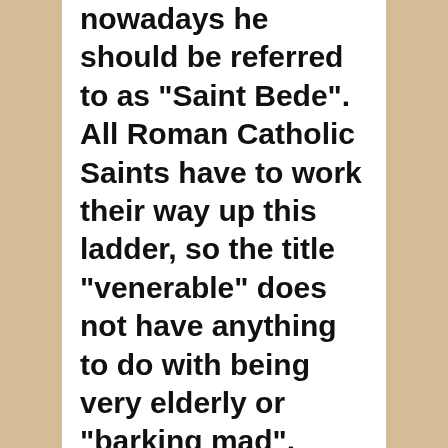nowadays he should be referred to as "Saint Bede". All Roman Catholic Saints have to work their way up this ladder, so the title "venerable" does not have anything to do with being very elderly or "barking mad". Saint Joan (of Arc), for example, was